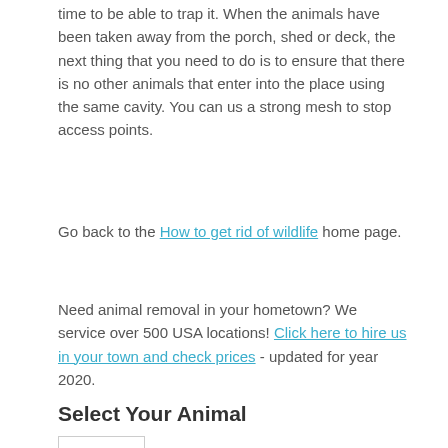time to be able to trap it. When the animals have been taken away from the porch, shed or deck, the next thing that you need to do is to ensure that there is no other animals that enter into the place using the same cavity. You can us a strong mesh to stop access points.
Go back to the How to get rid of wildlife home page.
Need animal removal in your hometown? We service over 500 USA locations! Click here to hire us in your town and check prices - updated for year 2020.
Select Your Animal